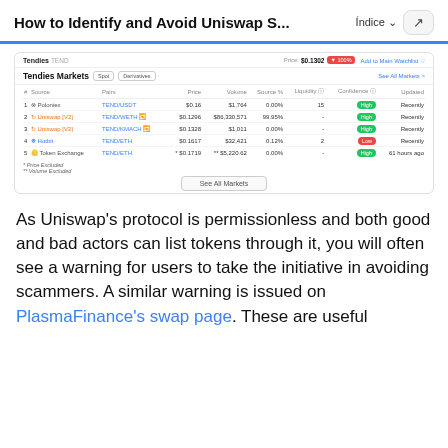How to Identify and Avoid Uniswap S... Índice
[Figure (screenshot): Screenshot of CoinGecko/CoinMarketCap Tendies (TEND) token market data table showing markets including Poloniex, Uniswap V2, Hotbit, and Token Exchange with prices, volumes, and confidence ratings.]
As Uniswap's protocol is permissionless and both good and bad actors can list tokens through it, you will often see a warning for users to take the initiative in avoiding scammers. A similar warning is issued on PlasmaFinance's swap page. These are useful